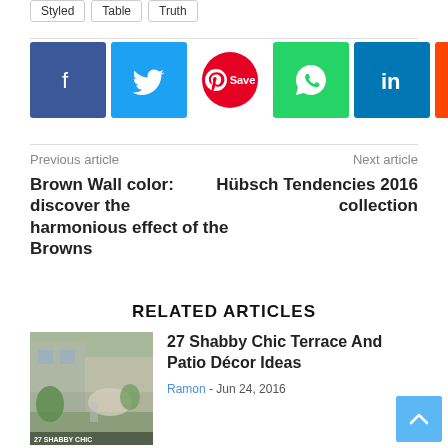Styled | Table | Truth
[Figure (other): Social share buttons row: Facebook (blue), Twitter (light blue), Pinterest Save (red circle), WhatsApp (green), LinkedIn (dark blue), Reddit (orange), Email (dark), Print (black)]
Previous article
Brown Wall color: discover the harmonious effect of the Browns
Next article
Hübsch Tendencies 2016 collection
RELATED ARTICLES
[Figure (photo): Thumbnail image of a shabby chic terrace/patio with outdoor furniture and plants. Caption reads '27 SHABBY CHIC' at bottom.]
27 Shabby Chic Terrace And Patio Décor Ideas
Ramon - Jun 24, 2016